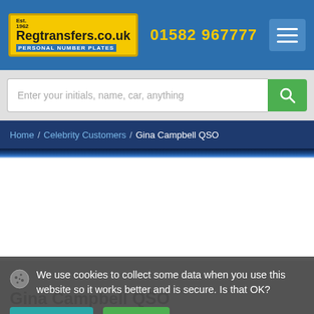Regtransfers.co.uk - Personal Number Plates | 01582 967777
Enter your initials, name, car, anything
Home / Celebrity Customers / Gina Campbell QSO
[Figure (photo): Partial photo of Gina Campbell, cropped at top, showing blue background]
We use cookies to collect some data when you use this website so it works better and is secure. Is that OK?
Privacy Policy
Yes, OK
Gina Campbell QSO